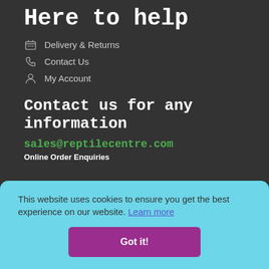Here to help
Delivery & Returns
Contact Us
My Account
Contact us for any information
sales@reptilecentre.com
Online Order Enquiries
This website uses cookies to ensure you get the best experience on our website. Learn more
Got it!